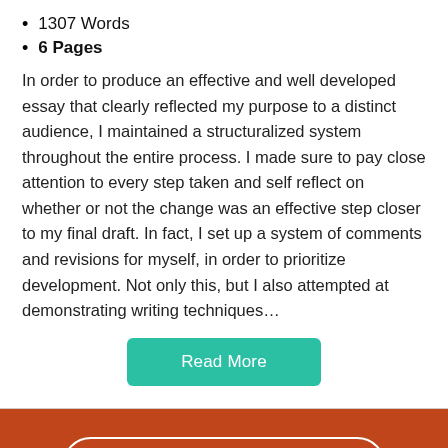1307 Words
6 Pages
In order to produce an effective and well developed essay that clearly reflected my purpose to a distinct audience, I maintained a structuralized system throughout the entire process. I made sure to pay close attention to every step taken and self reflect on whether or not the change was an effective step closer to my final draft. In fact, I set up a system of comments and revisions for myself, in order to prioritize development. Not only this, but I also attempted at demonstrating writing techniques…
[Figure (other): Read More button — teal/green rounded rectangle with white text]
[Figure (other): Get Access button — white outlined pill button on brown/orange footer bar]